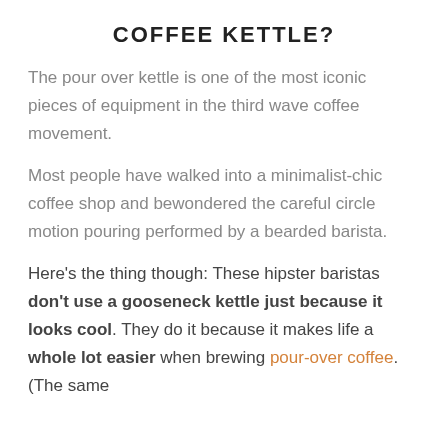COFFEE KETTLE?
The pour over kettle is one of the most iconic pieces of equipment in the third wave coffee movement.
Most people have walked into a minimalist-chic coffee shop and bewondered the careful circle motion pouring performed by a bearded barista.
Here’s the thing though: These hipster baristas don’t use a gooseneck kettle just because it looks cool. They do it because it makes life a whole lot easier when brewing pour-over coffee. (The same